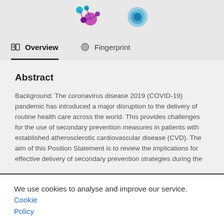[Figure (logo): Two logos side by side: a stylized molecule/dots logo in purple and teal, and a circular swirl logo in blue tones]
Overview | Fingerprint
Abstract
Background: The coronavirus disease 2019 (COVID-19) pandemic has introduced a major disruption to the delivery of routine health care across the world. This provides challenges for the use of secondary prevention measures in patients with established atherosclerotic cardiovascular disease (CVD). The aim of this Position Statement is to review the implications for effective delivery of secondary prevention strategies during the
We use cookies to analyse and improve our service. Cookie Policy